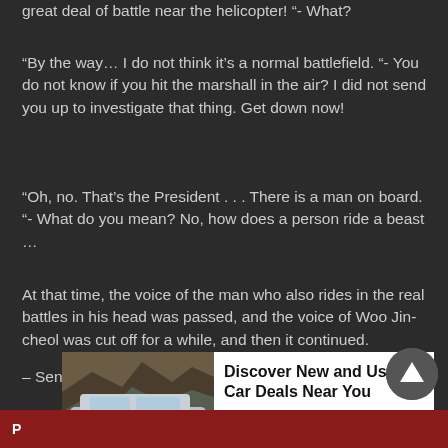great deal of battle near the helicopter! “- What?
“By the way… I do not think it’s a normal battlefield. “- You do not know if you hit the marshall in the air? I did not send you up to investigate that thing. Get down now!
“Oh, no. That’s the President . . . There is a man on board. “- What do you mean? No, how does a person ride a beast …
At that time, the voice of the man who also rides in the real battles in his head was passed, and the voice of Woo Jin-cheol was cut off for a while, and then it continued.
– Sena
[Figure (photo): Advertisement overlay showing a silver SUV (Ford Explorer) on a rocky mountain road, with text 'Discover New and Used Car Deals Near You', source 'Car Deals Near You', and PurpleAds branding]
P